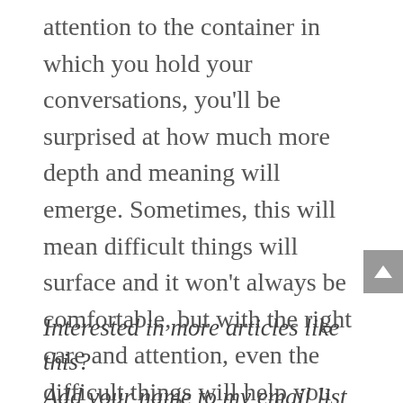attention to the container in which you hold your conversations, you'll be surprised at how much more depth and meaning will emerge. Sometimes, this will mean difficult things will surface and it won't always be comfortable, but with the right care and attention, even the difficult things will help you move in a positive direction.
Interested in more articles like this? Add your name to my email list and